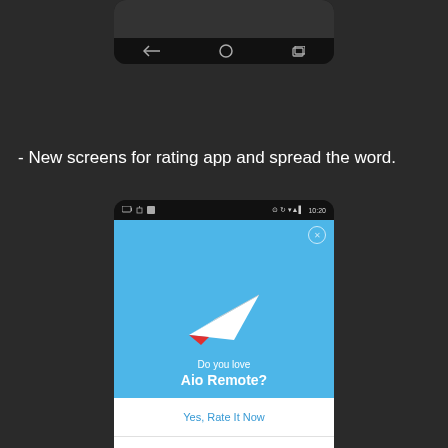[Figure (screenshot): Top portion of an Android phone screenshot showing the navigation bar with back, home, and recents buttons on a dark background]
- New screens for rating app and spread the word.
[Figure (screenshot): Android phone screenshot showing the Aio Remote app rating dialog with a paper airplane on blue background, asking 'Do you love Aio Remote?' with options: Yes, Rate It Now; Yes, Share it on Facebook; Dismiss]